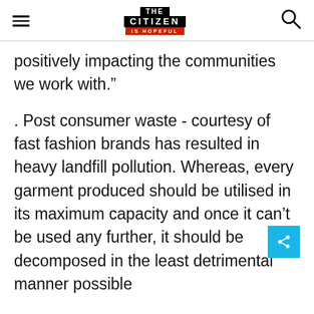THE CITIZEN IS HOPEFUL
positively impacting the communities we work with.”
. Post consumer waste - courtesy of fast fashion brands has resulted in heavy landfill pollution. Whereas, every garment produced should be utilised in its maximum capacity and once it can’t be used any further, it should be decomposed in the least detrimental manner possible
“Sustainability is the balance between the